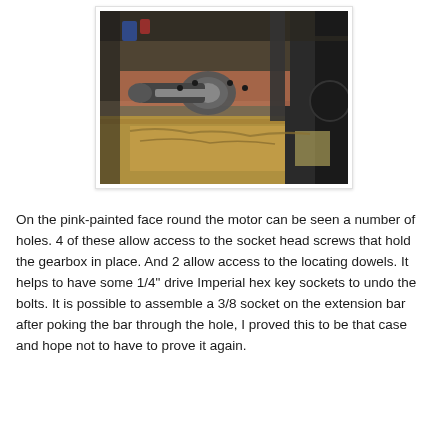[Figure (photo): A photo showing machinery with a pink-painted face around a motor, with a gearbox area visible. Metal chips and debris visible on a wooden surface below. Industrial workshop setting.]
On the pink-painted face round the motor can be seen a number of holes. 4 of these allow access to the socket head screws that hold the gearbox in place. And 2 allow access to the locating dowels. It helps to have some 1/4" drive Imperial hex key sockets to undo the bolts. It is possible to assemble a 3/8 socket on the extension bar after poking the bar through the hole, I proved this to be that case and hope not to have to prove it again.